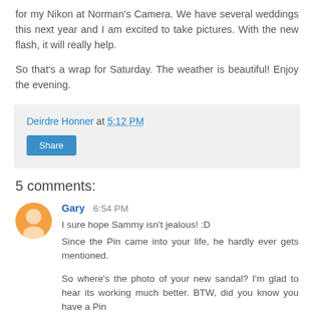for my Nikon at Norman's Camera. We have several weddings this next year and I am excited to take pictures. With the new flash, it will really help.
So that's a wrap for Saturday. The weather is beautiful! Enjoy the evening.
Deirdre Honner at 5:12 PM
Share
5 comments:
Gary 6:54 PM
I sure hope Sammy isn't jealous! :D
Since the Pin came into your life, he hardly ever gets mentioned.

So where's the photo of your new sandal? I'm glad to hear its working much better. BTW, did you know you have a Pin